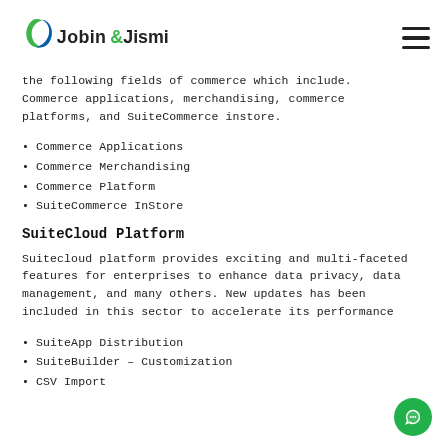Jobin & Jismi
the following fields of commerce which include. Commerce applications, merchandising, commerce platforms, and SuiteCommerce instore.
• Commerce Applications
• Commerce Merchandising
• Commerce Platform
• SuiteCommerce InStore
SuiteCloud Platform
Suitecloud platform provides exciting and multi-faceted features for enterprises to enhance data privacy, data management, and many others. New updates has been included in this sector to accelerate its performance
• SuiteApp Distribution
• SuiteBuilder – Customization
• CSV Import